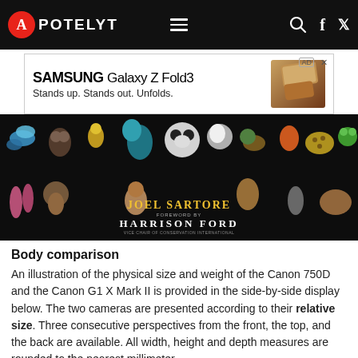APOTELYT
[Figure (photo): Advertisement banner for Samsung Galaxy Z Fold3 with text 'Stands up. Stands out. Unfolds.' and image of the folded phone]
[Figure (photo): Wildlife photography book banner by Joel Sartore, foreword by Harrison Ford, featuring various animals on black background]
Body comparison
An illustration of the physical size and weight of the Canon 750D and the Canon G1 X Mark II is provided in the side-by-side display below. The two cameras are presented according to their relative size. Three consecutive perspectives from the front, the top, and the back are available. All width, height and depth measures are rounded to the nearest millimeter.
Canon 750D vs Canon G1 X Mark II
132mm / 5.2"